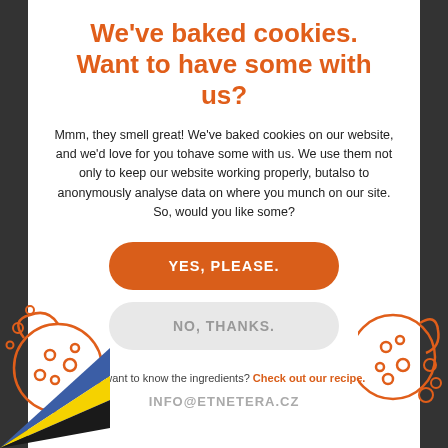We've baked cookies. Want to have some with us?
Mmm, they smell great! We've baked cookies on our website, and we'd love for you tohave some with us. We use them not only to keep our website working properly, butalso to anonymously analyse data on where you munch on our site. So, would you like some?
[Figure (illustration): Orange cookie outline illustration on left side]
[Figure (illustration): Orange cookie outline illustration on right side]
YES, PLEASE.
NO, THANKS.
You want to know the ingredients? Check out our recipe.
INFO@ETNETERA.CZ
[Figure (illustration): Blue and yellow diagonal stripe decoration at bottom-left corner]